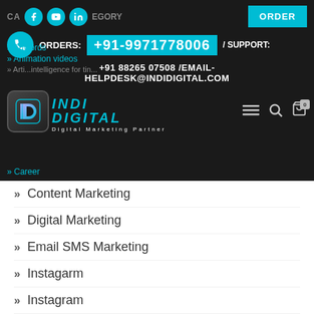CATEGORY | Social icons | ORDER button
[Figure (logo): Indi Digital logo with teal icon and text, Digital Marketing Partner tagline]
ORDERS: +91-9971778006 / SUPPORT: +91 88265 07508 /EMAIL- HELPDESK@INDIDIGITAL.COM
Adwords
Animation videos
Career
Content Marketing
Digital Marketing
Email SMS Marketing
Instagarm
Instagram
mobile app
SEO
Social Media